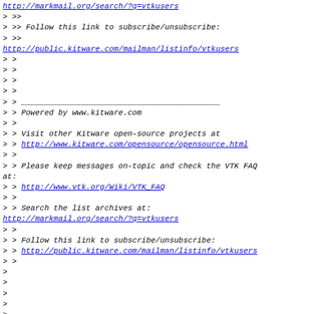http://markmail.org/search/?q=vtkusers
> >>
> >> Follow this link to subscribe/unsubscribe:
> >>
http://public.kitware.com/mailman/listinfo/vtkusers
> >
> >
> >
> >
> > ___________________________________________
> > Powered by www.kitware.com
> >
> > Visit other Kitware open-source projects at
> > http://www.kitware.com/opensource/opensource.html
> >
> > Please keep messages on-topic and check the VTK FAQ at:
> > http://www.vtk.org/Wiki/VTK_FAQ
> >
> > Search the list archives at:
http://markmail.org/search/?q=vtkusers
> >
> > Follow this link to subscribe/unsubscribe:
> > http://public.kitware.com/mailman/listinfo/vtkusers
> >
>
>
>
>
> --
> Unpaid intern in BillsBasement at noware dot com
>
                    next part